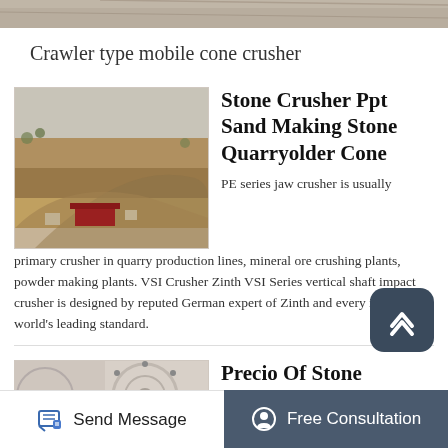[Figure (photo): Top strip image of a road or construction surface, cropped]
Crawler type mobile cone crusher
[Figure (photo): Aerial view of a large open-pit quarry/mining site with buildings and roads]
Stone Crusher Ppt Sand Making Stone Quarryolder Cone
PE series jaw crusher is usually primary crusher in quarry production lines, mineral ore crushing plants, powder making plants. VSI Crusher Zinth VSI Series vertical shaft impact crusher is designed by reputed German expert of Zinth and every index is in world’s leading standard.
[Figure (photo): Partial image of stone crusher machinery component]
Precio Of Stone Crusher Plant Sand Making St...